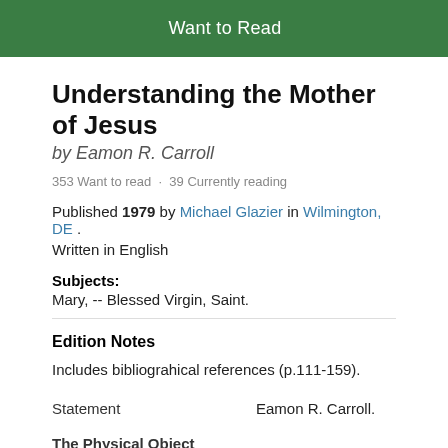[Figure (other): Green 'Want to Read' button]
Understanding the Mother of Jesus
by Eamon R. Carroll
353 Want to read · 39 Currently reading
Published 1979 by Michael Glazier in Wilmington, DE . Written in English
Subjects:
Mary, -- Blessed Virgin, Saint.
Edition Notes
Includes bibliograhical references (p.111-159).
| Statement | Eamon R. Carroll. |
| The Physical Object |  |
| Pagination | 159 p. ; |
| Number of Pages | 159 |